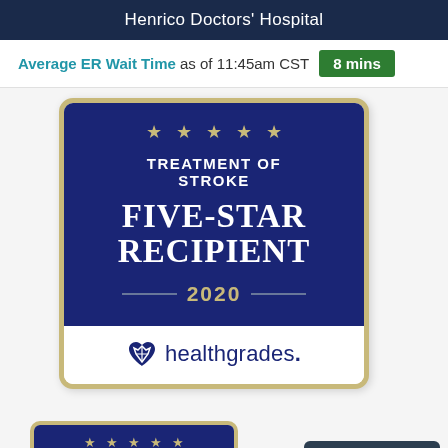Henrico Doctors' Hospital
Average ER Wait Time as of 11:45am CST  8 mins
[Figure (illustration): Healthgrades Treatment of Stroke Five-Star Recipient 2020 award badge with dark blue background, five gold stars, white serif text reading TREATMENT OF STROKE FIVE-STAR RECIPIENT, gold year 2020, and Healthgrades logo at bottom on white section]
[Figure (illustration): Second smaller Healthgrades award badge partially visible at bottom, showing Treatment Of with gold stars on blue background]
Chat Assistance